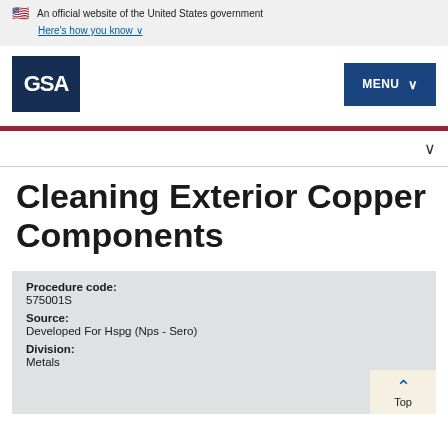An official website of the United States government
Here's how you know
[Figure (logo): GSA logo - white text on dark blue background]
MENU
Cleaning Exterior Copper Components
Procedure code:
575001S
Source:
Developed For Hspg (Nps - Sero)
Division:
Metals